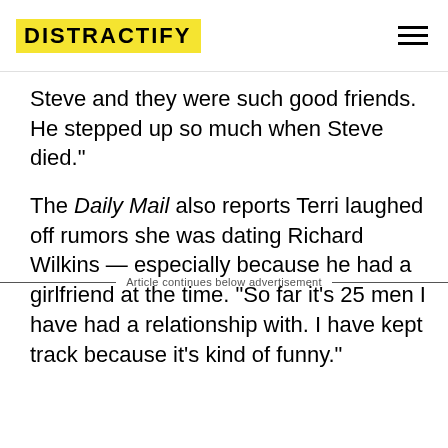DISTRACTIFY
Steve and they were such good friends. He stepped up so much when Steve died."
The Daily Mail also reports Terri laughed off rumors she was dating Richard Wilkins — especially because he had a girlfriend at the time. "So far it's 25 men I have had a relationship with. I have kept track because it's kind of funny."
Article continues below advertisement